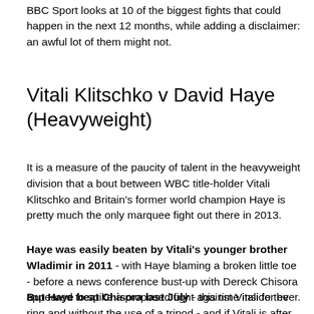BBC Sport looks at 10 of the biggest fights that could happen in the next 12 months, while adding a disclaimer: an awful lot of them might not.
Vitali Klitschko v David Haye (Heavyweight)
It is a measure of the paucity of talent in the heavyweight division that a bout between WBC title-holder Vitali Klitschko and Britain's former world champion Haye is pretty much the only marquee fight out there in 2013.
Haye was easily beaten by Vitali's younger brother Wladimir in 2011 - with Haye blaming a broken little toe - before a news conference bust-up with Dereck Chisora appeared to spike a proposed fight against Vitali for ever.
But Haye beat Chisora last July - this time inside the ring and without the use of a tripod - and if Vitali is after